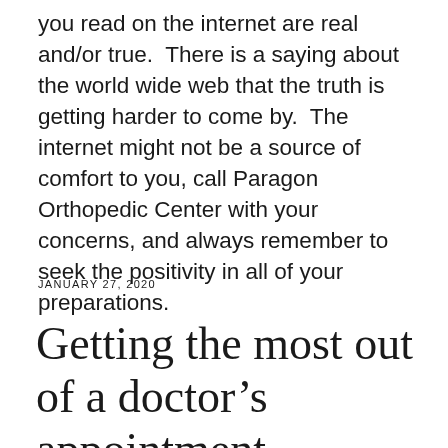you read on the internet are real and/or true.  There is a saying about the world wide web that the truth is getting harder to come by.  The internet might not be a source of comfort to you, call Paragon Orthopedic Center with your concerns, and always remember to seek the positivity in all of your preparations.
JANUARY 27, 2020
Getting the most out of a doctor’s appointment